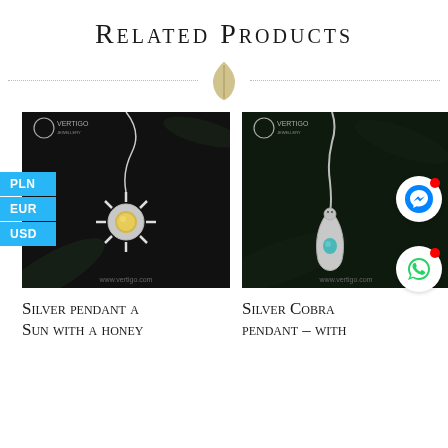Related Products
[Figure (photo): Silver pendant shaped as a sun with a yellow honey amber stone center, on a chain, against a dark background. Vertigo jewelry logo visible. www.vertigo.com watermark at bottom.]
[Figure (photo): Silver Cobra pendant with a turquoise stone, on a snake chain, against a dark background. Vertigo jewelry logo visible. WhatsApp and Messenger social media buttons overlaid. www.vertigo.com watermark at bottom.]
Silver pendant a Sun with a honey
Silver Cobra pendant – with